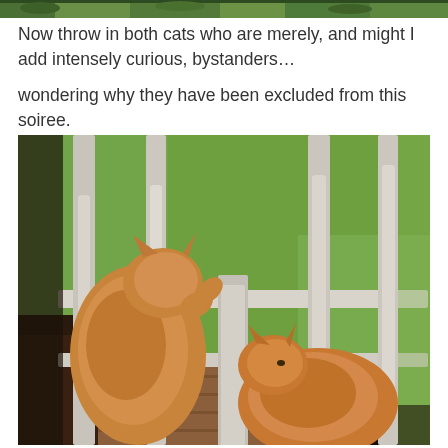[Figure (photo): Top strip of a photo showing green grass/garden background with some foliage visible at the very top of the page]
Now throw in both cats who are merely, and might I add intensely curious, bystanders…
wondering why they have been excluded from this soiree.
[Figure (photo): Two orange/ginger cats sitting on a wooden porch, looking through white porch railing spindles at a green lawn. One larger cat sits upright on the left, one smaller fluffy cat sits on the right lower position. The porch has wooden decking and white painted balusters.]